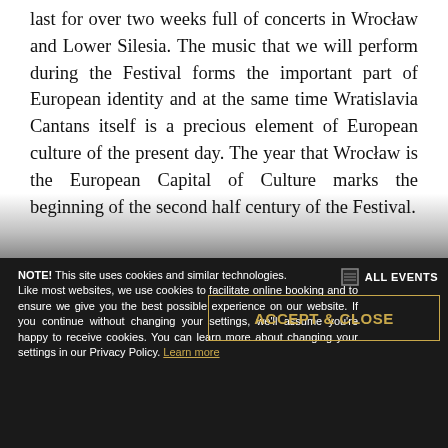last for over two weeks full of concerts in Wrocław and Lower Silesia. The music that we will perform during the Festival forms the important part of European identity and at the same time Wratislavia Cantans itself is a precious element of European culture of the present day. The year that Wrocław is the European Capital of Culture marks the beginning of the second half century of the Festival.
NOTE! This site uses cookies and similar technologies. Like most websites, we use cookies to facilitate online booking and to ensure we give you the best possible experience on our website. If you continue without changing your settings, we'll assume you're happy to receive cookies. You can learn more about changing your settings in our Privacy Policy. Learn more